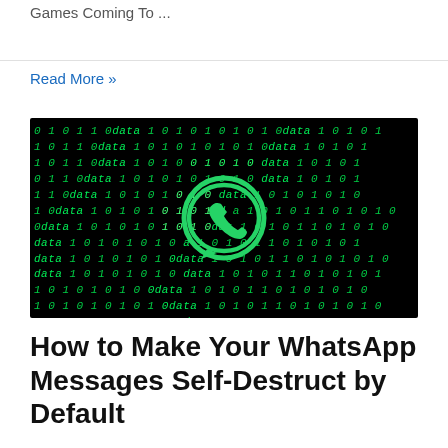Games Coming To ...
Read More »
[Figure (photo): WhatsApp logo over a dark background filled with green binary data (1s, 0s, and the word 'data') in italic monospace font, representing data/digital security theme.]
How to Make Your WhatsApp Messages Self-Destruct by Default